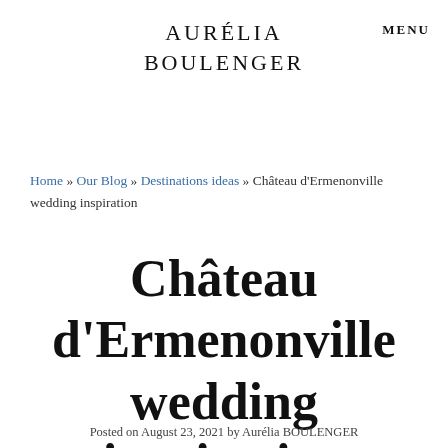AURÉLIA BOULENGER
MENU
Home » Our Blog » Destinations ideas » Château d'Ermenonville wedding inspiration
Château d'Ermenonville wedding inspiration
Posted on August 23, 2021 by Aurélia BOULENGER